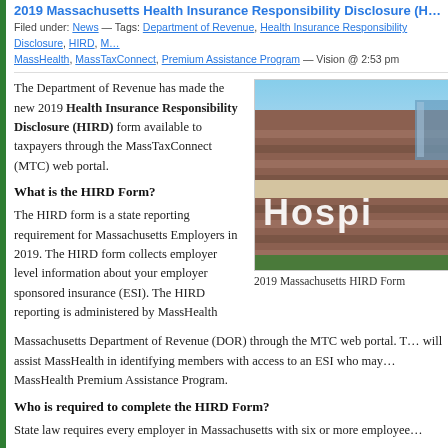2019 Massachusetts Health Insurance Responsibility Disclosure (HIRD…
Filed under: News — Tags: Department of Revenue, Health Insurance Responsibility Disclosure, HIRD, M… MassHealth, MassTaxConnect, Premium Assistance Program — Vision @ 2:53 pm
The Department of Revenue has made the new 2019 Health Insurance Responsibility Disclosure (HIRD) form available to taxpayers through the MassTaxConnect (MTC) web portal.
[Figure (photo): Photo of a hospital building exterior with large letters 'Hospi' visible on the brick facade, blue sky and green lawn visible]
2019 Massachusetts HIRD Form
What is the HIRD Form?
The HIRD form is a state reporting requirement for Massachusetts Employers in 2019. The HIRD form collects employer level information about your employer sponsored insurance (ESI). The HIRD reporting is administered by MassHealth and the Massachusetts Department of Revenue (DOR) through the MTC web portal. The HIRD reporting will assist MassHealth in identifying members with access to an ESI who may be eligible for the MassHealth Premium Assistance Program.
Who is required to complete the HIRD Form?
State law requires every employer in Massachusetts with six or more employees…